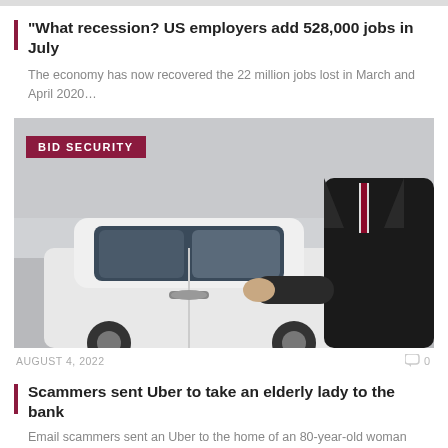“What recession? US employers add 528,000 jobs in July
The economy has now recovered the 22 million jobs lost in March and April 2020…
[Figure (photo): Person in dark suit opening the door of a white luxury car. A 'BID SECURITY' label overlay appears in the top-left corner. Date shown: AUGUST 4, 2022. Comment count: 0.]
AUGUST 4, 2022
Scammers sent Uber to take an elderly lady to the bank
Email scammers sent an Uber to the home of an 80-year-old woman